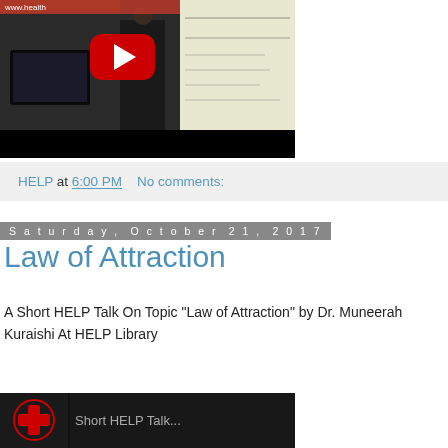[Figure (screenshot): YouTube video thumbnail showing a man standing in front of a whiteboard with handwritten notes, inside a room with a TV and bookshelves. A red YouTube play button is overlaid at center.]
HELP at 6:00 PM    No comments:
Saturday, October 21, 2017
Law of Attraction
A Short HELP Talk On Topic "Law of Attraction" by Dr. Muneerah Kuraishi At HELP Library
[Figure (screenshot): Partial video thumbnail showing the HELP Library logo (red cross medical style) and partial text 'Short HELP Talk...' on dark background.]